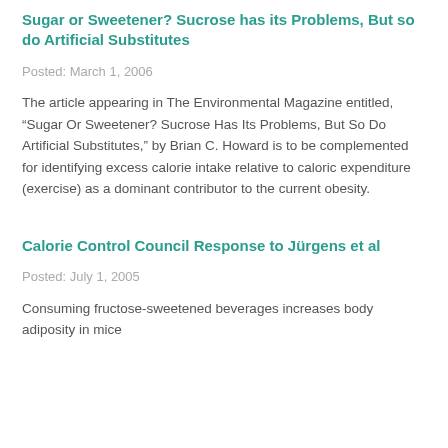Sugar or Sweetener? Sucrose has its Problems, But so do Artificial Substitutes
Posted: March 1, 2006
The article appearing in The Environmental Magazine entitled, “Sugar Or Sweetener? Sucrose Has Its Problems, But So Do Artificial Substitutes,” by Brian C. Howard is to be complemented for identifying excess calorie intake relative to caloric expenditure (exercise) as a dominant contributor to the current obesity.
Calorie Control Council Response to Jürgens et al
Posted: July 1, 2005
Consuming fructose-sweetened beverages increases body adiposity in mice